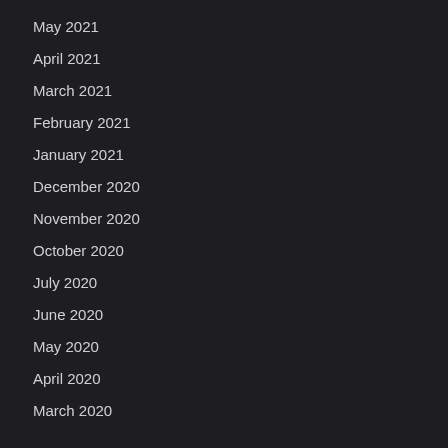May 2021
April 2021
March 2021
February 2021
January 2021
December 2020
November 2020
October 2020
July 2020
June 2020
May 2020
April 2020
March 2020